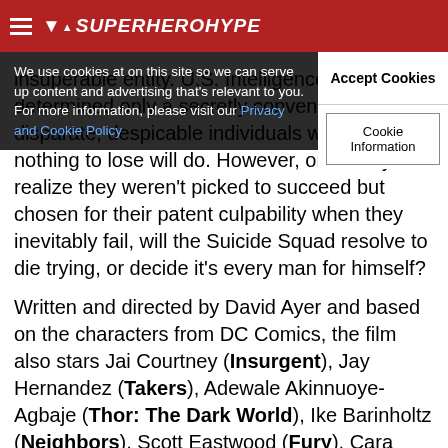SuperHeroHype
We use cookies at on this site so we can serve up content and advertising that's relevant to you. For more information, please visit our Privacy and Cookie Policy
Accept Cookies
Cookie Information
insuperable entity. U.S. Intelligence offi... has determined only a secretly convened group of disparate, despicable individuals with next to nothing to lose will do. However, once they realize they weren't picked to succeed but chosen for their patent culpability when they inevitably fail, will the Suicide Squad resolve to die trying, or decide it's every man for himself?
Written and directed by David Ayer and based on the characters from DC Comics, the film also stars Jai Courtney (Insurgent), Jay Hernandez (Takers), Adewale Akinnuoye-Agbaje (Thor: The Dark World), Ike Barinholtz (Neighbors), Scott Eastwood (Fury), Cara Delevingne (Paper Towns), Adam Beach (Cowboys & Aliens), and Karen Fukuhara in her feature film debut. It is produced by Charles Roven and Richard Suckle, with Zack Snyder, Deborah Snyder, Colin Wilson and Geoff Johns serving as executive producers.